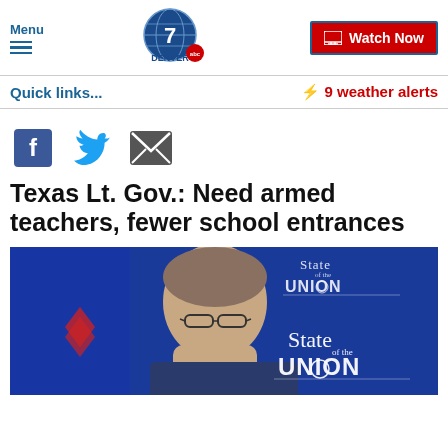Menu | Denver 7 ABC | Watch Now
Quick links...
⚡ 9 weather alerts
[Figure (other): Social sharing icons: Facebook, Twitter, Email]
Texas Lt. Gov.: Need armed teachers, fewer school entrances
[Figure (photo): A man with glasses and gray-brown hair appears in front of a blue background with 'State of the Union' text overlaid in the upper right corner and lower right corner.]